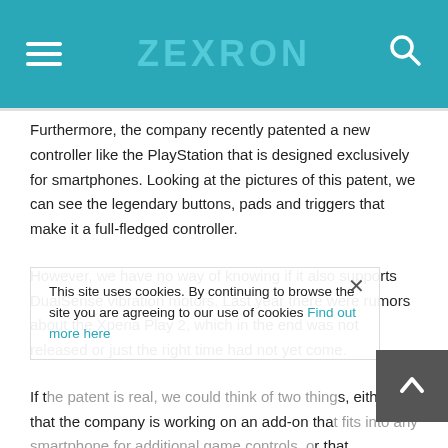ZEXRON
Furthermore, the company recently patented a new controller like the PlayStation that is designed exclusively for smartphones. Looking at the pictures of this patent, we can see the legendary buttons, pads and triggers that make it a full-fledged controller.
However, we have no way of knowing if it also supports DualSense vibration motors. Last year there were rumors about the Xperia Play 2, which in the end was not released or just the right time had not yet come.
If the patent is real, we could think of two things, either that the company is working on an add-on that fits into any smartphone for additional game controls, or that Xperia Play is a device that would offer streaming games
This site uses cookies. By continuing to browse the site you are agreeing to our use of cookies Find out more here